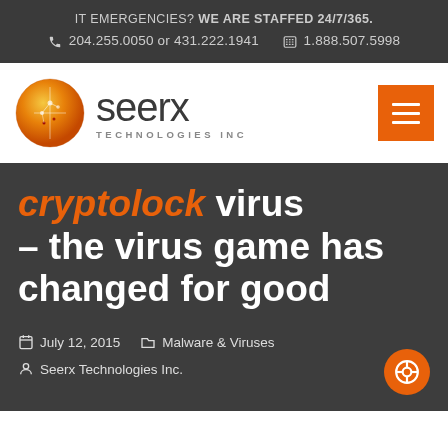IT EMERGENCIES? WE ARE STAFFED 24/7/365.
☎ 204.255.0050 or 431.222.1941   🖩 1.888.507.5998
[Figure (logo): Seerx Technologies Inc. logo with orange globe and text]
cryptolock virus – the virus game has changed for good
July 12, 2015   Malware & Viruses
Seerx Technologies Inc.